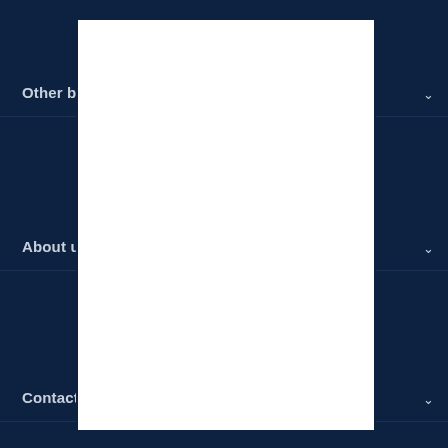[Figure (screenshot): Dark navy blue website footer/navigation UI showing collapsed accordion menu items: 'Other bu...', 'About u...', 'Contact...', 'Stay up-...', social media icons (LinkedIn and another), 'Select c...' dropdown, and 'United K...' country selection. A white modal overlay panel covers the center-right portion of the image.]